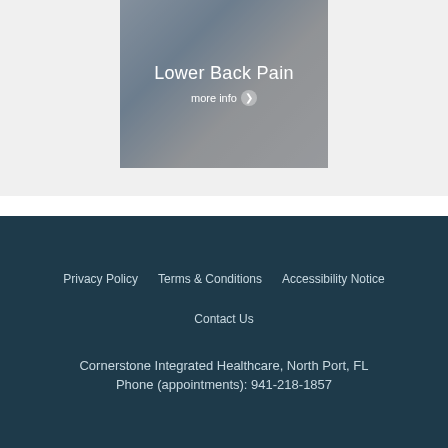[Figure (photo): Medical professional with patient, background photo for Lower Back Pain section]
Lower Back Pain
more info ❯
Privacy Policy   Terms & Conditions   Accessibility Notice   Contact Us   Cornerstone Integrated Healthcare, North Port, FL   Phone (appointments): 941-218-1857